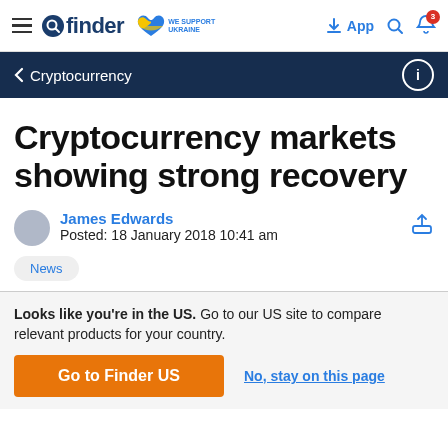finder — WE SUPPORT UKRAINE — App
Cryptocurrency
Cryptocurrency markets showing strong recovery
James Edwards
Posted: 18 January 2018 10:41 am
News
Looks like you're in the US. Go to our US site to compare relevant products for your country.
Go to Finder US
No, stay on this page